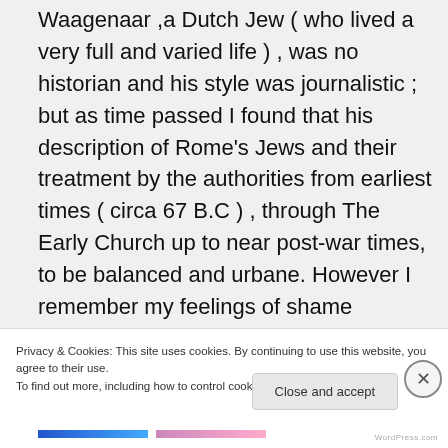Waagenaar ,a Dutch Jew ( who lived a very full and varied life ) , was no historian and his style was journalistic ; but as time passed I found that his description of Rome's Jews and their treatment by the authorities from earliest times ( circa 67 B.C ) , through The Early Church up to near post-war times, to be balanced and urbane. However I remember my feelings of shame
Privacy & Cookies: This site uses cookies. By continuing to use this website, you agree to their use.
To find out more, including how to control cookies, see here: Cookie Policy
Close and accept